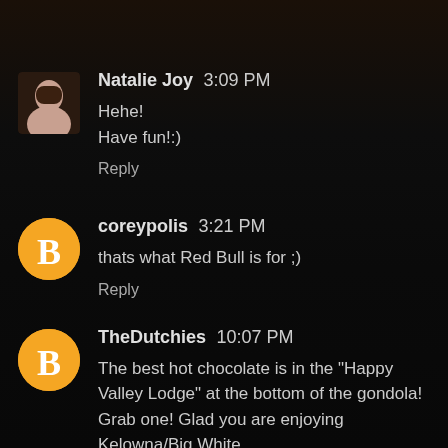[Figure (photo): Profile photo of Natalie Joy - woman with long dark hair]
Natalie Joy 3:09 PM
Hehe!
Have fun!:)
Reply
[Figure (logo): Blogger orange circle icon with B letter]
coreypolis 3:21 PM
thats what Red Bull is for ;)
Reply
[Figure (logo): Blogger orange circle icon with B letter]
TheDutchies 10:07 PM
The best hot chocolate is in the "Happy Valley Lodge" at the bottom of the gondola! Grab one! Glad you are enjoying Kelowna/Big White.
Reply